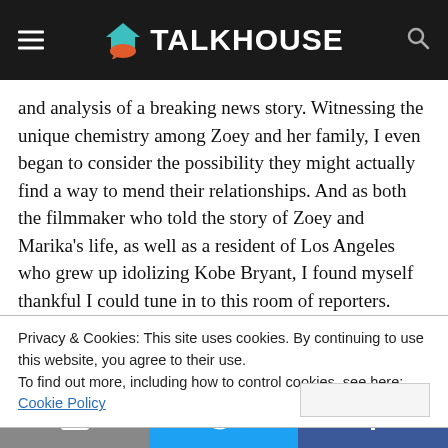TALKHOUSE
and analysis of a breaking news story. Witnessing the unique chemistry among Zoey and her family, I even began to consider the possibility they might actually find a way to mend their relationships. And as both the filmmaker who told the story of Zoey and Marika’s life, as well as a resident of Los Angeles who grew up idolizing Kobe Bryant, I found myself thankful I could tune in to this room of reporters.
We would eventually learn that on Sunday morning
Privacy & Cookies: This site uses cookies. By continuing to use this website, you agree to their use.
To find out more, including how to control cookies, see here: Cookie Policy